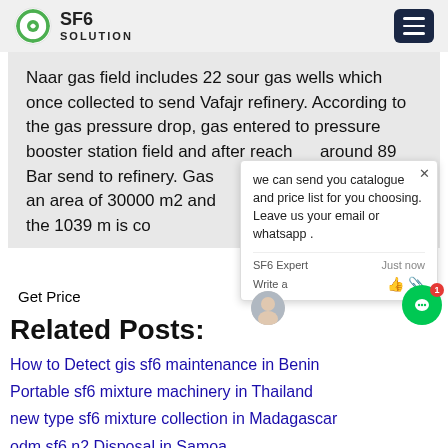SF6 SOLUTION
Naar gas field includes 22 sour gas wells which once collected to send Vafajr refinery. According to the gas pressure drop, gas entered to pressure booster station field and after reaching around 89 Bar send to refinery. Gas station in an area of 30000 m2 and above sea level of the 1039 m is co...
Get Price
Related Posts:
How to Detect gis sf6 maintenance in Benin
Portable sf6 mixture machinery in Thailand
new type sf6 mixture collection in Madagascar
odm sf6 n2 Disposal in Samoa
fluke On-Site in Uruguay